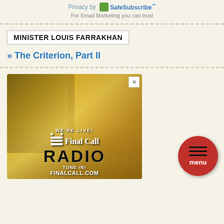Privacy by SafeSubscribe℠ For Email Marketing you can trust
MINISTER LOUIS FARRAKHAN
» The Criterion, Part II
[Figure (advertisement): Final Call Radio advertisement showing two people wearing headphones against a golden/yellow background. Text reads: WE'RE LIVE! Final Call RADIO TUNE IN! FINALCALL.COM]
menu